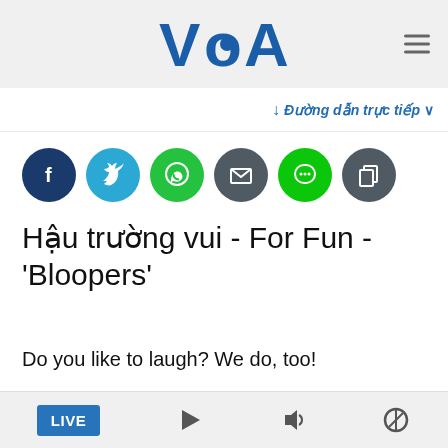VOA
↓ Đường dẫn trực tiếp ∨
[Figure (infographic): Row of social media share buttons: Facebook (dark navy circle), Twitter (teal circle), WhatsApp (green circle), Email (dark grey circle), Line (bright green circle), Copy/share (dark grey circle)]
Hậu trường vui - For Fun - 'Bloopers'
Do you like to laugh? We do, too!
Sometimes we make mistakes when we are
LIVE  ▶  🔊  🔍